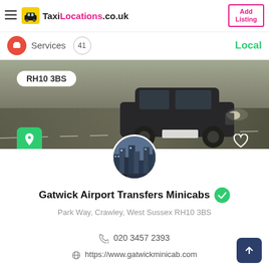TaxiLocations.co.uk | Add Listing
Services  41  Local
[Figure (photo): Classic black London taxi cab driving on a road, banner image with postcode label RH10 3BS]
Gatwick Airport Transfers Minicabs
Park Way, Crawley, West Sussex RH10 3BS
020 3457 2393
https://www.gatwickminicab.com